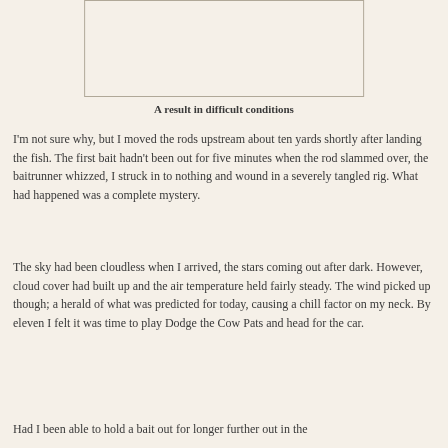[Figure (photo): A photograph showing a result in difficult fishing conditions (image area appears blank/white in this crop)]
A result in difficult conditions
I'm not sure why, but I moved the rods upstream about ten yards shortly after landing the fish. The first bait hadn't been out for five minutes when the rod slammed over, the baitrunner whizzed, I struck in to nothing and wound in a severely tangled rig. What had happened was a complete mystery.
The sky had been cloudless when I arrived, the stars coming out after dark. However, cloud cover had built up and the air temperature held fairly steady. The wind picked up though; a herald of what was predicted for today, causing a chill factor on my neck. By eleven I felt it was time to play Dodge the Cow Pats and head for the car.
Had I been able to hold a bait out for longer further out in the